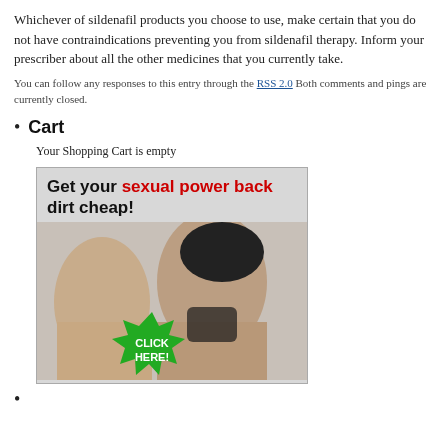Whichever of sildenafil products you choose to use, make certain that you do not have contraindications preventing you from sildenafil therapy. Inform your prescriber about all the other medicines that you currently take.
You can follow any responses to this entry through the RSS 2.0 Both comments and pings are currently closed.
Cart
Your Shopping Cart is empty
[Figure (photo): Advertisement banner: 'Get your sexual power back dirt cheap!' with a photo of a couple and a green starburst 'CLICK HERE!' button.]